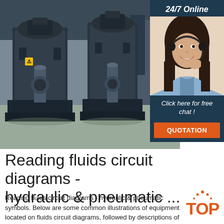[Figure (photo): Industrial hydraulic/pneumatic machines in a factory warehouse setting. Large dark grey mechanical press or pump units on a concrete floor, with shelving and equipment in background.]
[Figure (photo): Customer service representative woman wearing headset smiling, with '24/7 Online' text above and 'Click here for free chat!' and 'QUOTATION' button below on dark navy sidebar panel.]
Reading fluids circuit diagrams - hydraulic & pneumatic ...
Reading fluids circuit diagrams - hydraulic & pneumatic symbols. Below are some common illustrations of equipment located on fluids circuit diagrams, followed by descriptions of the most common elements. Later in this article series we will describe some simple hydraulic and